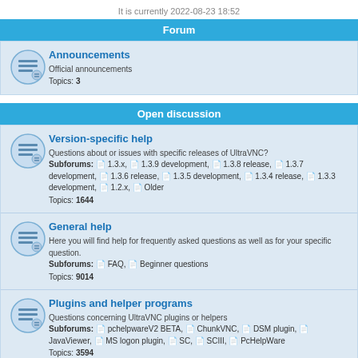It is currently 2022-08-23 18:52
Forum
Announcements
Official announcements
Topics: 3
Open discussion
Version-specific help
Questions about or issues with specific releases of UltraVNC?
Subforums: 1.3.x, 1.3.9 development, 1.3.8 release, 1.3.7 development, 1.3.6 release, 1.3.5 development, 1.3.4 release, 1.3.3 development, 1.2.x, Older
Topics: 1644
General help
Here you will find help for frequently asked questions as well as for your specific question.
Subforums: FAQ, Beginner questions
Topics: 9014
Plugins and helper programs
Questions concerning UltraVNC plugins or helpers
Subforums: pchelpwareV2 BETA, ChunkVNC, DSM plugin, JavaViewer, MS logon plugin, SC, SCIII, PcHelpWare
Topics: 3594